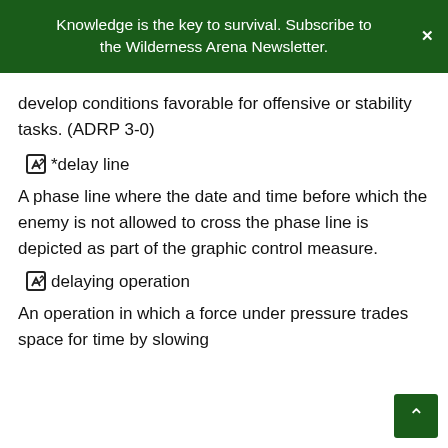Knowledge is the key to survival. Subscribe to the Wilderness Arena Newsletter.
develop conditions favorable for offensive or stability tasks. (ADRP 3-0)
*delay line
A phase line where the date and time before which the enemy is not allowed to cross the phase line is depicted as part of the graphic control measure.
delaying operation
An operation in which a force under pressure trades space for time by slowing